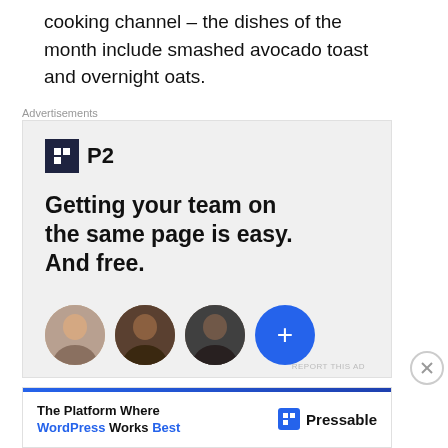cooking channel – the dishes of the month include smashed avocado toast and overnight oats.
Advertisements
[Figure (screenshot): P2 advertisement: logo with dark square icon and 'P2' text, headline 'Getting your team on the same page is easy. And free.' with three circular portrait photos and a blue plus button below. 'REPORT THIS AD' text at bottom right.]
Advertisements
[Figure (screenshot): Pressable advertisement: 'The Platform Where WordPress Works Best' with Pressable logo on the right.]